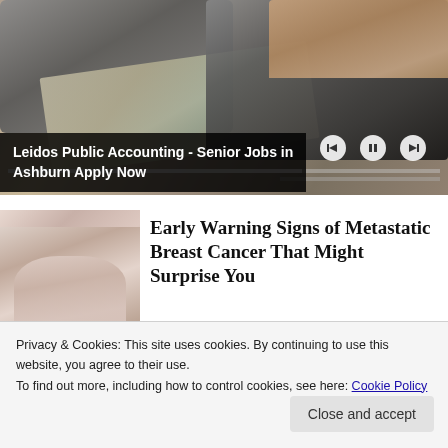[Figure (photo): Advertisement banner showing a laptop keyboard and a calculator on a desk with papers. Media playback controls visible. Caption reads: Leidos Public Accounting - Senior Jobs in Ashburn Apply Now]
Leidos Public Accounting - Senior Jobs in Ashburn Apply Now
[Figure (photo): Thumbnail image of hands, related to Metastatic Breast Cancer article]
Early Warning Signs of Metastatic Breast Cancer That Might Surprise You
Privacy & Cookies: This site uses cookies. By continuing to use this website, you agree to their use.
To find out more, including how to control cookies, see here: Cookie Policy
Close and accept